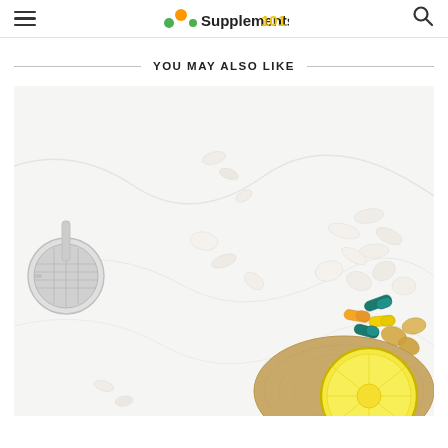Supplements 101
YOU MAY ALSO LIKE
[Figure (photo): Overhead flat-lay photo of various supplements — capsules, tablets, gel caps in white, green, orange, yellow, and teal — scattered on a white marble surface alongside a silver tea strainer and a lemon slice on a cork coaster.]